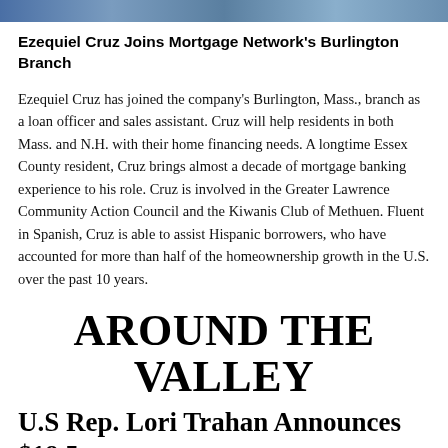[Figure (photo): Horizontal image bar at top of page, appears to be a cropped photo with blue/gray tones]
Ezequiel Cruz Joins Mortgage Network's Burlington Branch
Ezequiel Cruz has joined the company's Burlington, Mass., branch as a loan officer and sales assistant. Cruz will help residents in both Mass. and N.H. with their home financing needs. A longtime Essex County resident, Cruz brings almost a decade of mortgage banking experience to his role. Cruz is involved in the Greater Lawrence Community Action Council and the Kiwanis Club of Methuen. Fluent in Spanish, Cruz is able to assist Hispanic borrowers, who have accounted for more than half of the homeownership growth in the U.S. over the past 10 years.
AROUND THE VALLEY
U.S Rep. Lori Trahan Announces $18.5